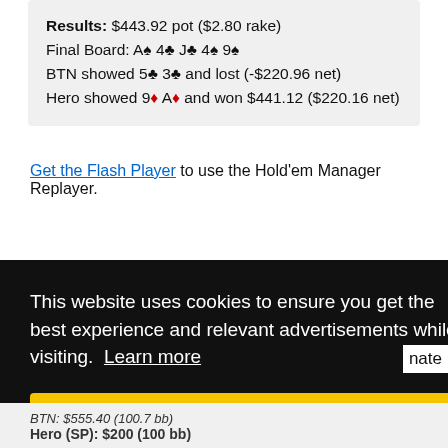Results: $443.92 pot ($2.80 rake)
Final Board: A♠ 4♣ J♣ 4♠ 9♠
BTN showed 5♣ 3♣ and lost (-$220.96 net)
Hero showed 9♦ A♦ and won $441.12 ($220.16 net)
Get the Flash Player to use the Hold'em Manager Replayer.
This website uses cookies to ensure you get the best experience and relevant advertisements while visiting.  Learn more
Got it!
BTN: $555.40 (100.7 bb)
Hero (SP): $200 (100 bb)